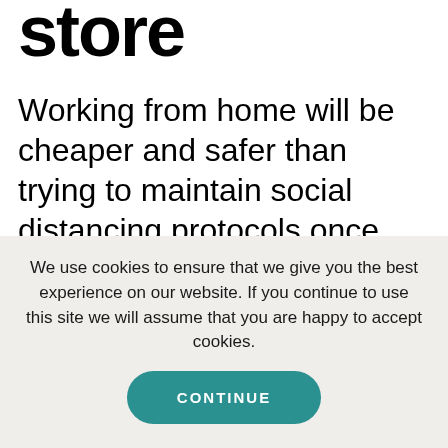store
Working from home will be cheaper and safer than trying to maintain social distancing protocols once lockdown ends. As a web design company, the change of environment from office space to
We use cookies to ensure that we give you the best experience on our website. If you continue to use this site we will assume that you are happy to accept cookies.
CONTINUE